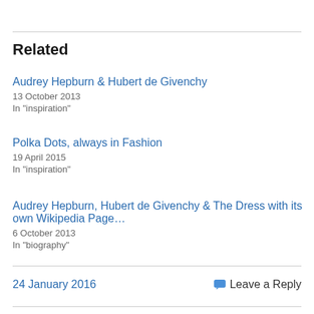Related
Audrey Hepburn & Hubert de Givenchy
13 October 2013
In "inspiration"
Polka Dots, always in Fashion
19 April 2015
In "inspiration"
Audrey Hepburn, Hubert de Givenchy & The Dress with its own Wikipedia Page…
6 October 2013
In "biography"
24 January 2016
Leave a Reply